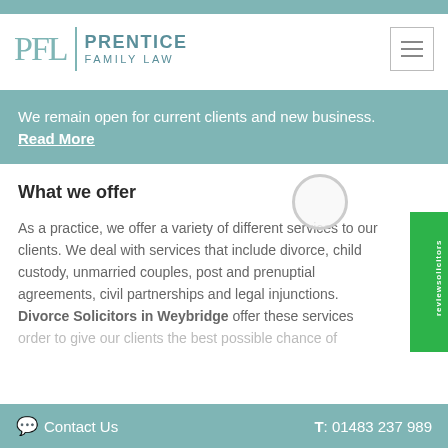[Figure (logo): Prentice Family Law logo with PFL initials and text]
We remain open for current clients and new business. Read More
What we offer
As a practice, we offer a variety of different services to our clients. We deal with services that include divorce, child custody, unmarried couples, post and prenuptial agreements, civil partnerships and legal injunctions. Divorce Solicitors in Weybridge offer these services in order to give our clients the best possible chance of
Contact Us   T: 01483 237 989